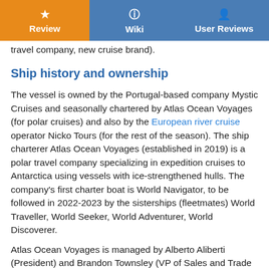Review | Wiki | User Reviews
travel company, new cruise brand).
Ship history and ownership
The vessel is owned by the Portugal-based company Mystic Cruises and seasonally chartered by Atlas Ocean Voyages (for polar cruises) and also by the European river cruise operator Nicko Tours (for the rest of the season). The ship charterer Atlas Ocean Voyages (established in 2019) is a polar travel company specializing in expedition cruises to Antarctica using vessels with ice-strengthened hulls. The company's first charter boat is World Navigator, to be followed in 2022-2023 by the sisterships (fleetmates) World Traveller, World Seeker, World Adventurer, World Discoverer.
Atlas Ocean Voyages is managed by Alberto Aliberti (President) and Brandon Townsley (VP of Sales and Trade Partnerships), plus two Sales Managers - Alyssa Logan (North America West) and Richard Sims (North America East, former Sales Manager of NCL-Norwegian, Holland America and Seabourn).